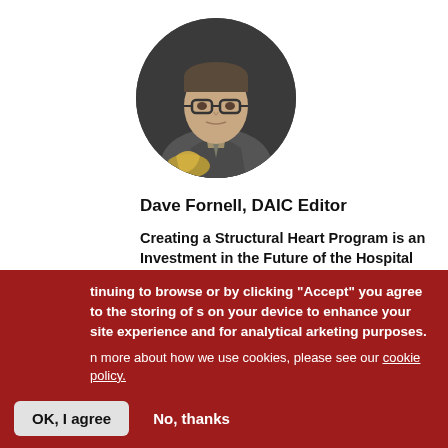[Figure (photo): Circular profile photo of Dave Fornell, a middle-aged man with glasses wearing a grey suit, holding something in his hands, dark background]
Dave Fornell, DAIC Editor
Creating a Structural Heart Program is an Investment in the Future of the Hospital
[Figure (illustration): Social media sharing buttons: Facebook (f), Twitter (bird), LinkedIn (in), Print (printer icon), More (+)]
[Figure (photo): Circular profile photo, partially visible, showing a person with glasses]
tinuing to browse or by clicking “Accept” you agree to the storing of s on your device to enhance your site experience and for analytical arketing purposes.
n more about how we use cookies, please see our cookie policy.
OK, I agree
No, thanks